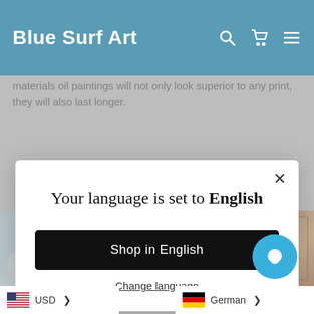Blue Surf Art
materials oil paintings will not only look superior to any print, they will also last longer.
Your language is set to English
Shop in English
Change language
painted sides.
[Figure (screenshot): Three product images showing rolled canvas, colorful painting, and framed artwork]
USD >
German >